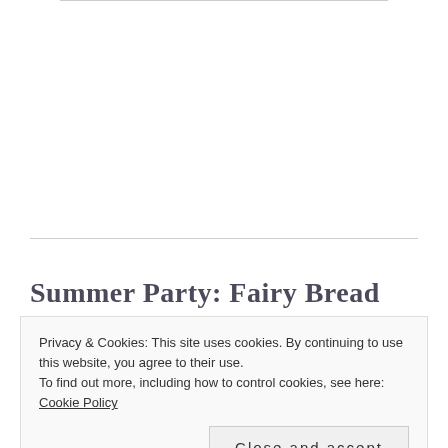Summer Party: Fairy Bread
Privacy & Cookies: This site uses cookies. By continuing to use this website, you agree to their use.
To find out more, including how to control cookies, see here: Cookie Policy
Close and accept
[Figure (photo): Close-up photo of colorful sprinkle-topped fairy bread pieces, showing round candy sprinkles in red, yellow, orange, and other colors on bread at the bottom of the page.]